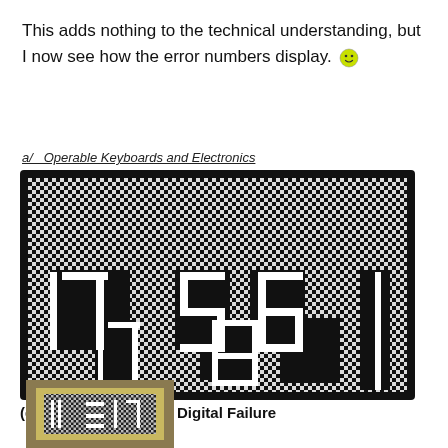This adds nothing to the technical understanding, but I now see how the error numbers display. 🙂
a/ Operable Keyboards and Electronics...
[Figure (photo): Close-up photo of a black LCD/digital display panel showing error codes with dotted matrix pattern. Large digits visible: 17, 5, 6 on top row and 17, 8 on bottom row, displayed in white against black dot-matrix background.]
(e)    Bad Key A7 and Digital Failure
[Figure (photo): Photo of a framed LCD display panel showing multiple columns of dot-matrix digit readouts in a gold/brown frame.]